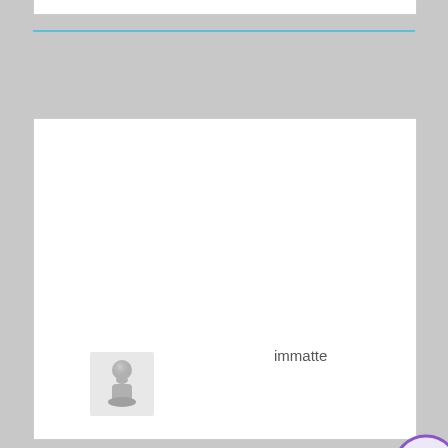[Figure (screenshot): Partial white box at top of page, cropped]
[Figure (other): Horizontal blue/teal divider line]
[Figure (screenshot): Main white card/panel containing a user avatar placeholder (chess pawn icon), the username 'immatte', a purple mail icon circle, and a blue ORDER NOW link]
immatte
ORDER NOW! Get a giant discount! Enter Here